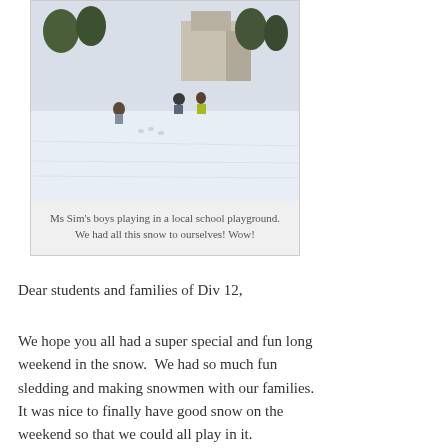[Figure (photo): Children playing in the snow on a school playground. Two or three figures visible in a large snow-covered field with buildings and trees in the background.]
Ms Sim's boys playing in a local school playground. We had all this snow to ourselves! Wow!
Dear students and families of Div 12,
We hope you all had a super special and fun long weekend in the snow.  We had so much fun sledding and making snowmen with our families.  It was nice to finally have good snow on the weekend so that we could all play in it.